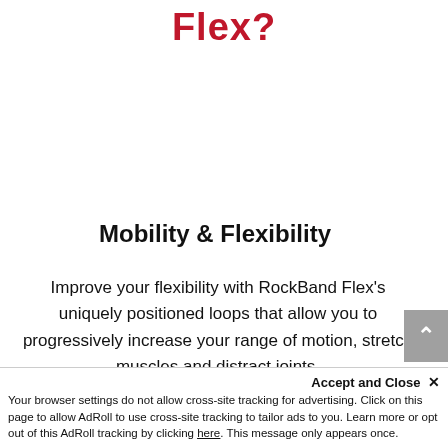Flex?
Mobility & Flexibility
Improve your flexibility with RockBand Flex's uniquely positioned loops that allow you to progressively increase your range of motion, stretch muscles and distract joints.
Accept and Close ×
Your browser settings do not allow cross-site tracking for advertising. Click on this page to allow AdRoll to use cross-site tracking to tailor ads to you. Learn more or opt out of this AdRoll tracking by clicking here. This message only appears once.